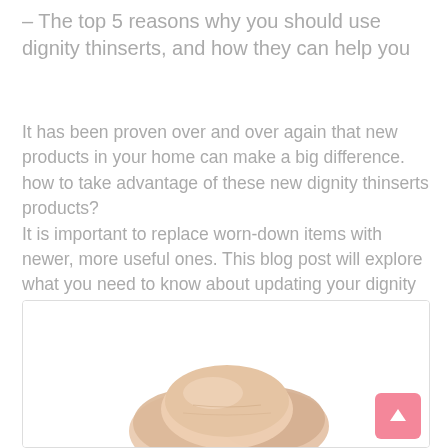– The top 5 reasons why you should use dignity thinserts, and how they can help you
It has been proven over and over again that new products in your home can make a big difference. how to take advantage of these new dignity thinserts products?
It is important to replace worn-down items with newer, more useful ones. This blog post will explore what you need to know about updating your dignity thinserts products and give you some suggestions about how you can do so!
[Figure (photo): Photo of dignity thinsert pads (beige/nude colored fabric pads) partially visible at the bottom of a white bordered box]